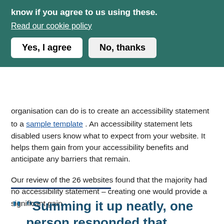know if you agree to us using these.
Read our cookie policy
Yes, I agree
No, thanks
organisation can do is to create an accessibility statement to a sample template . An accessibility statement lets disabled users know what to expect from your website. It helps them gain from your accessibility benefits and anticipate any barriers that remain.
Our review of the 26 websites found that the majority had no accessibility statement – creating one would provide a significant gain.
"Summing it up neatly, one person responded that